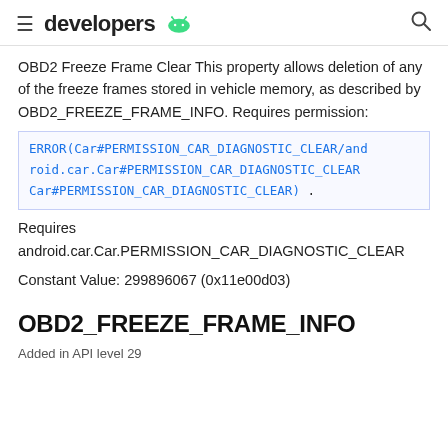developers
OBD2 Freeze Frame Clear This property allows deletion of any of the freeze frames stored in vehicle memory, as described by OBD2_FREEZE_FRAME_INFO. Requires permission:
ERROR(Car#PERMISSION_CAR_DIAGNOSTIC_CLEAR/android.car.Car#PERMISSION_CAR_DIAGNOSTIC_CLEAR Car#PERMISSION_CAR_DIAGNOSTIC_CLEAR) .
Requires android.car.Car.PERMISSION_CAR_DIAGNOSTIC_CLEAR
Constant Value: 299896067 (0x11e00d03)
OBD2_FREEZE_FRAME_INFO
Added in API level 29